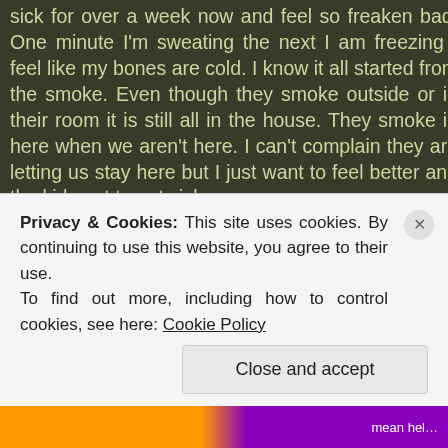sick for over a week now and feel so freaken bad. One minute I'm sweating the next I am freezing I feel like my bones are cold. I know it all started from the smoke. Even though they smoke outside or in their room it is still all in the house. They smoke in here when we aren't here. I can't complain they are letting us stay here but I just want to feel better and the kids not to get sick.
We ended up not taking the place we were supposed to get Saturday I always check and this time I forgot to until that day we did everything so fast. When we looked there was a sex offender right in our backyard. I know you can't get away from...
Privacy & Cookies: This site uses cookies. By continuing to use this website, you agree to their use. To find out more, including how to control cookies, see here: Cookie Policy
Close and accept